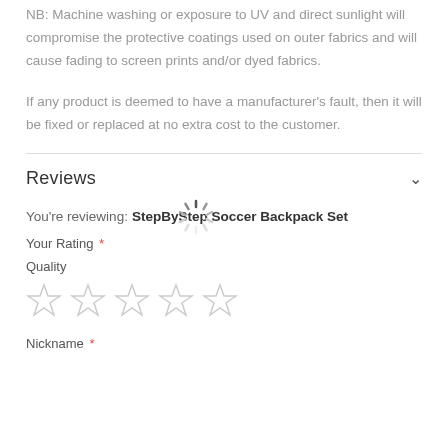NB: Machine washing or exposure to UV and direct sunlight will compromise the protective coatings used on outer fabrics and will cause fading to screen prints and/or dyed fabrics.
If any product is deemed to have a manufacturer's fault, then it will be fixed or replaced at no extra cost to the customer.
Reviews
You're reviewing: StepByStep Soccer Backpack Set
Your Rating *
Quality
[Figure (other): Five empty star rating icons for quality rating selection]
Nickname *